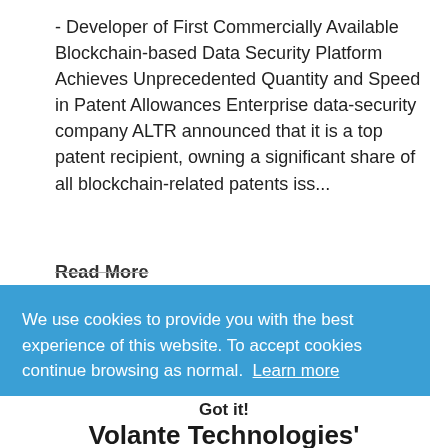- Developer of First Commercially Available Blockchain-based Data Security Platform Achieves Unprecedented Quantity and Speed in Patent Allowances Enterprise data-security company ALTR announced that it is a top patent recipient, owning a significant share of all blockchain-related patents iss...
Read More
We use cookies to provide you with the best experience of this website. To accept cookies continue browsing as normal.  Learn more
Got it!
Volante Technologies'